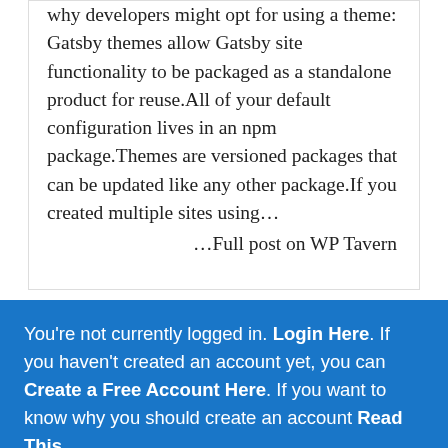why developers might opt for using a theme: Gatsby themes allow Gatsby site functionality to be packaged as a standalone product for reuse.All of your default configuration lives in an npm package.Themes are versioned packages that can be updated like any other package.If you created multiple sites using…
…Full post on WP Tavern
You're not currently logged in. Login Here. If you haven't created an account yet, you can Create a Free Account Here. If you want to know why you should create an account Read This.
← PREVIOUS    NEXT →